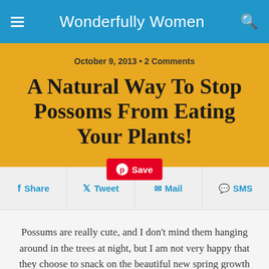Wonderfully Women
October 9, 2013 • 2 Comments
A Natural Way To Stop Possoms From Eating Your Plants!
f Share   Tweet   Save   Mail   SMS
Possums are really cute, and I don't mind them hanging around in the trees at night, but I am not very happy that they choose to snack on the beautiful new spring growth on my citrus trees! My poor lime tree is looking like a stick montage instead of a